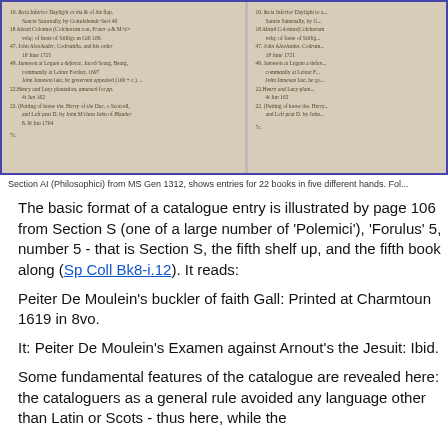[Figure (photo): Two side-by-side photographs of handwritten manuscript pages from MS Gen 1312, Section AI (Philosophici), showing entries for books in multiple hands.]
Section AI (Philosophici) from MS Gen 1312, shows entries for 22 books in five different hands. Fol...
The basic format of a catalogue entry is illustrated by page 106 from Section S (one of a large number of 'Polemici'), 'Forulus' 5, number 5 - that is Section S, the fifth shelf up, and the fifth book along (Sp Coll Bk8-i.12). It reads:
Peiter De Moulein's buckler of faith Gall: Printed at Charmtoun 1619 in 8vo.
It: Peiter De Moulein's Examen against Arnout's the Jesuit: Ibid.
Some fundamental features of the catalogue are revealed here: the cataloguers as a general rule avoided any language other than Latin or Scots - thus here, while the